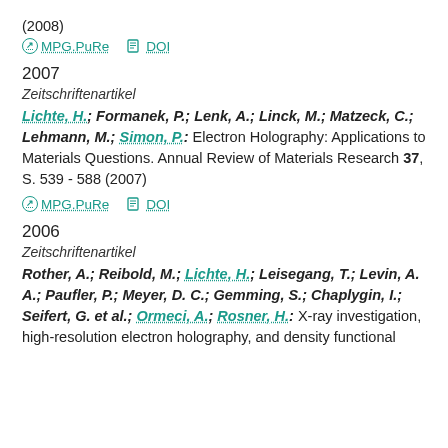(2008)
MPG.PuRe   DOI
2007
Zeitschriftenartikel
Lichte, H.; Formanek, P.; Lenk, A.; Linck, M.; Matzeck, C.; Lehmann, M.; Simon, P.: Electron Holography: Applications to Materials Questions. Annual Review of Materials Research 37, S. 539 - 588 (2007)
MPG.PuRe   DOI
2006
Zeitschriftenartikel
Rother, A.; Reibold, M.; Lichte, H.; Leisegang, T.; Levin, A. A.; Paufler, P.; Meyer, D. C.; Gemming, S.; Chaplygin, I.; Seifert, G. et al.; Ormeci, A.; Rosner, H.: X-ray investigation, high-resolution electron holography, and density functional